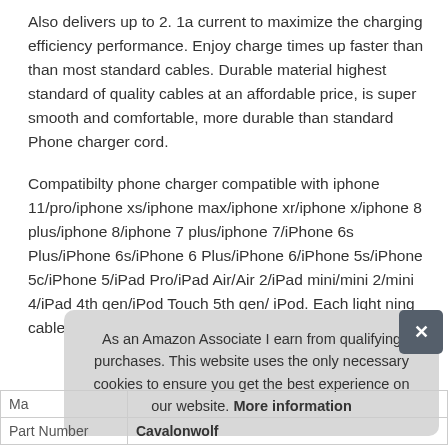Also delivers up to 2. 1a current to maximize the charging efficiency performance. Enjoy charge times up faster than than most standard cables. Durable material highest standard of quality cables at an affordable price, is super smooth and comfortable, more durable than standard Phone charger cord.
Compatibilty phone charger compatible with iphone 11/pro/iphone xs/iphone max/iphone xr/iphone x/iphone 8 plus/iphone 8/iphone 7 plus/iphone 7/iPhone 6s Plus/iPhone 6s/iPhone 6 Plus/iPhone 6/iPhone 5s/iPhone 5c/iPhone 5/iPad Pro/iPad Air/Air 2/iPad mini/mini 2/mini 4/iPad 4th gen/iPod Touch 5th gen/ iPod. Each light ning cable was updated to match the iphone system.
As an Amazon Associate I earn from qualifying purchases. This website uses the only necessary cookies to ensure you get the best experience on our website. More information
| Ma |  |
| Part Number | Cavalonwolf |